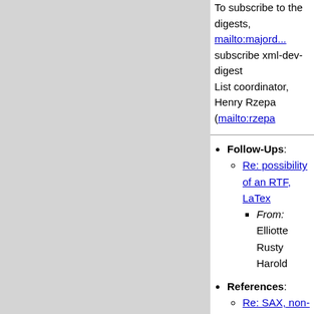To subscribe to the digests, mailto:majord... subscribe xml-dev-digest
List coordinator, Henry Rzepa (mailto:rzepa...
Follow-Ups:
Re: possibility of an RTF, LaTex...
From: Elliotte Rusty Harold
References:
Re: SAX, non-XML Documents,...
From: "Don Park" <donpark...
possibility of an RTF, LaTex XM...
From: Baden Hughes <bmh...
Prev by Date: possibility of an RTF, L...
Next by Date: RDF at AlphaWorks
Previous by thread: possibility of an R... process
Next by thread: Re: possibility of an R... process
Index(es):
Date
Thread